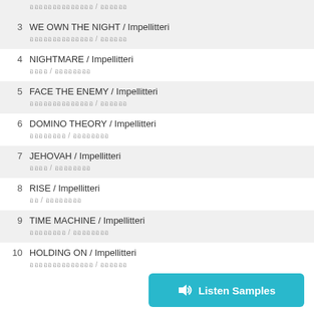3  WE OWN THE NIGHT / Impellitteri
4  NIGHTMARE / Impellitteri
5  FACE THE ENEMY / Impellitteri
6  DOMINO THEORY / Impellitteri
7  JEHOVAH / Impellitteri
8  RISE / Impellitteri
9  TIME MACHINE / Impellitteri
10  HOLDING ON / Impellitteri
Listen Samples